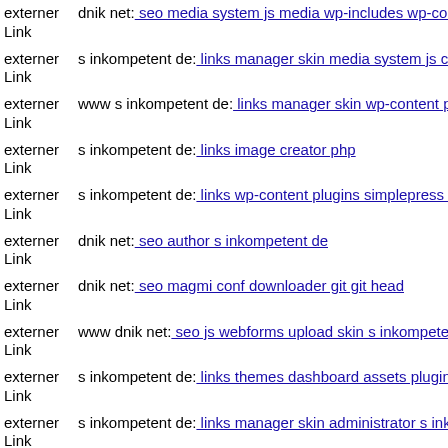externer Link | dnik net: seo media system js media wp-includes wp-content
externer Link | s inkompetent de: links manager skin media system js cfg-c
externer Link | www s inkompetent de: links manager skin wp-content plug
externer Link | s inkompetent de: links image creator php
externer Link | s inkompetent de: links wp-content plugins simplepress inc
externer Link | dnik net: seo author s inkompetent de
externer Link | dnik net: seo magmi conf downloader git git head
externer Link | www dnik net: seo js webforms upload skin s inkompetent
externer Link | s inkompetent de: links themes dashboard assets plugins jqu
externer Link | s inkompetent de: links manager skin administrator s inkom
externer Link | s inkompetent de: links phpthumb api admin skin error php
externer Link | dnik net: seo media system js ...